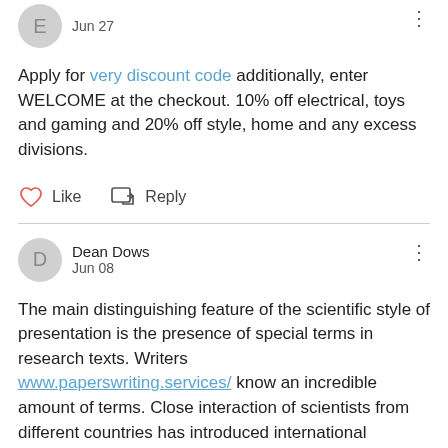[Figure (other): User avatar circle with letter E]
Jun 27
Apply for very discount code additionally, enter WELCOME at the checkout. 10% off electrical, toys and gaming and 20% off style, home and any excess divisions.
Like  Reply
[Figure (other): User avatar circle with letter D, user name Dean Dows, date Jun 08]
The main distinguishing feature of the scientific style of presentation is the presence of special terms in research texts. Writers www.paperswriting.services/ know an incredible amount of terms. Close interaction of scientists from different countries has introduced international